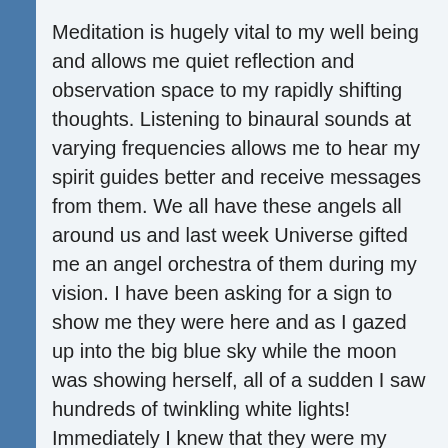Meditation is hugely vital to my well being and allows me quiet reflection and observation space to my rapidly shifting thoughts. Listening to binaural sounds at varying frequencies allows me to hear my spirit guides better and receive messages from them. We all have these angels all around us and last week Universe gifted me an angel orchestra of them during my vision. I have been asking for a sign to show me they were here and as I gazed up into the big blue sky while the moon was showing herself, all of a sudden I saw hundreds of twinkling white lights! Immediately I knew that they were my guides saying hello. I was filled with an indescribable sense of comfort and warmth while tears streamed down my face, it was one of the most beautiful sights to behold.
After that my week continued to unfold in both